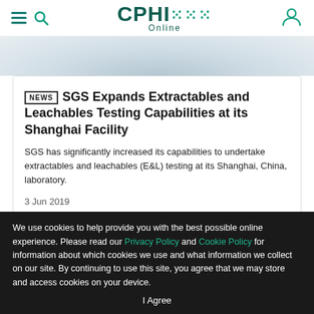CPHI Online
[Figure (photo): Blurred blue-grey image strip, partial view of a laboratory or pharmaceutical item]
SGS Expands Extractables and Leachables Testing Capabilities at its Shanghai Facility
SGS has significantly increased its capabilities to undertake extractables and leachables (E&L) testing at its Shanghai, China, laboratory.
3 Jun 2019
SHOW MORE NEWS →
We use cookies to help provide you with the best possible online experience. Please read our Privacy Policy and Cookie Policy for information about which cookies we use and what information we collect on our site. By continuing to use this site, you agree that we may store and access cookies on your device.
I Agree